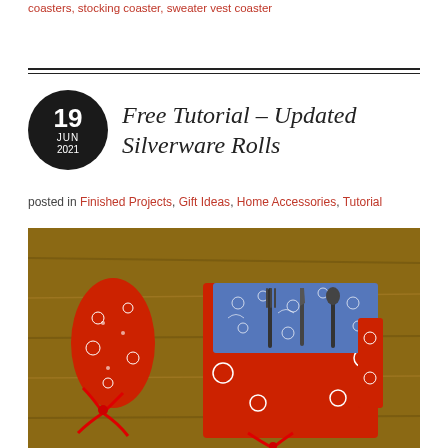coasters, stocking coaster, sweater vest coaster
Free Tutorial – Updated Silverware Rolls
posted in Finished Projects, Gift Ideas, Home Accessories, Tutorial
[Figure (photo): Photo of two fabric silverware rolls made from red bandana print and blue patterned fabric on a wooden table. One roll is tied closed with a red ribbon, the other is open showing cutlery inserted in pockets.]